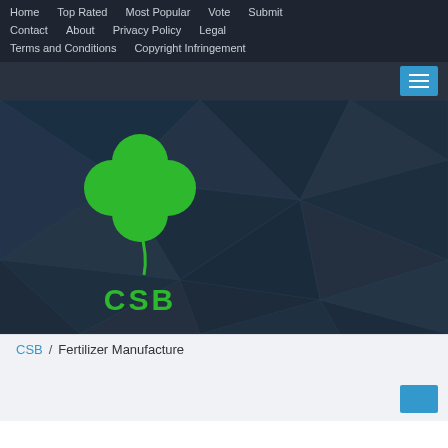Home  Top Rated  Most Popular  Vote  Submit  Contact  About  Privacy Policy  Legal  Terms and Conditions  Copyright Infringement
[Figure (screenshot): Dark hero banner with geometric polygon pattern background, featuring a green four-leaf clover SVG logo above bold green text 'CSB']
CSB / Fertilizer Manufacture